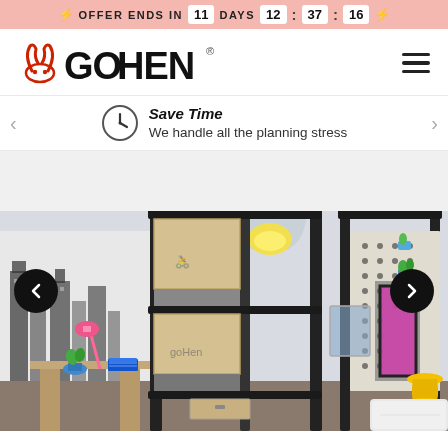⚡ OFFER ENDS IN 11 DAYS 12 : 37 : 16 ⚡
[Figure (logo): GoHen logo with red devil horns icon and bold text GO HEN with registered trademark symbol]
Save Time — We handle all the planning stress
[Figure (photo): Interior photo of a modern hostel-style room with bunk beds made of black metal frames and light wood panels, colorful wall murals with city motifs, a hanging grey pendant lamp with yellow interior, pink desk lamp, blue pot plants, yellow stool, and a white pillow visible on the right. Navigation arrows are overlaid on the image.]